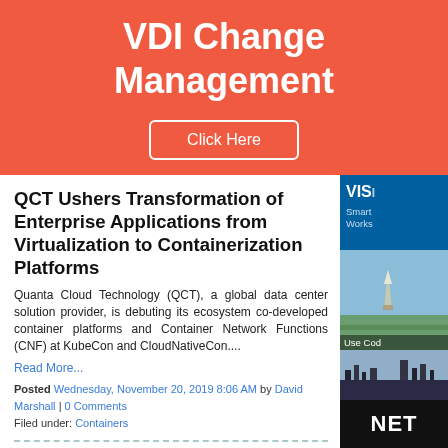VDI Change Management
Click Here
QCT Ushers Transformation of Enterprise Applications from Virtualization to Containerization Platforms
Quanta Cloud Technology (QCT), a global data center solution provider, is debuting its ecosystem co-developed container platforms and Container Network Functions (CNF) at KubeCon and CloudNativeCon....
Read More...
Posted Wednesday, November 20, 2019 8:06 AM by David Marshall | 0 Comments
Filed under: Containers
This year, win your gifts with the #AltaroHolidayContest
This Holiday Season, Altaro is helping you out with